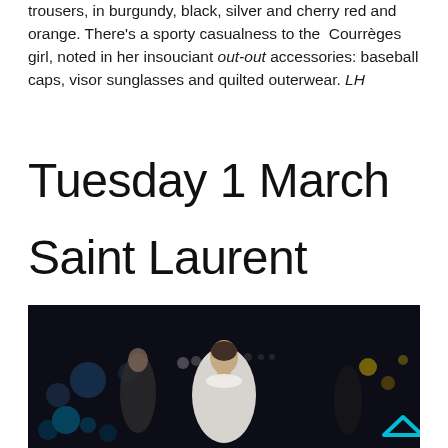trousers, in burgundy, black, silver and cherry red and orange. There’s a sporty casualness to the Courrèges girl, noted in her insouciant out-out accessories: baseball caps, visor sunglasses and quilted outerwear. LH
Tuesday 1 March
Saint Laurent
[Figure (photo): A fashion show photograph showing a model in a white turtleneck dress walking a runway at night with city lights bokeh in the background. Other models in dark clothing visible behind her. A cyan navigation arrow chevron in the bottom right corner.]